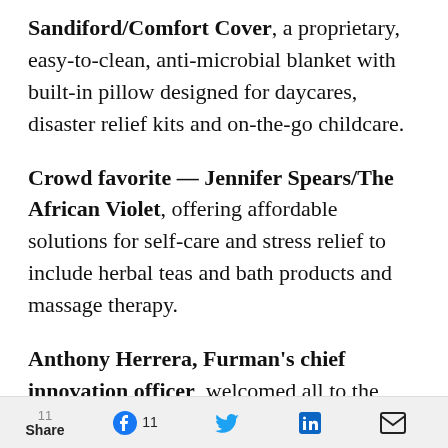Sandiford/Comfort Cover, a proprietary, easy-to-clean, anti-microbial blanket with built-in pillow designed for daycares, disaster relief kits and on-the-go childcare.
Crowd favorite — Jennifer Spears/The African Violet, offering affordable solutions for self-care and stress relief to include herbal teas and bath products and massage therapy.
Anthony Herrera, Furman's chief innovation officer, welcomed all to the event, saying that GVL Starts represents the best Greenville has to offer not only from an innovation standpoint, but from a collaboration and [continues]
Share  [Facebook] 11  [Twitter]  [LinkedIn]  [Email]